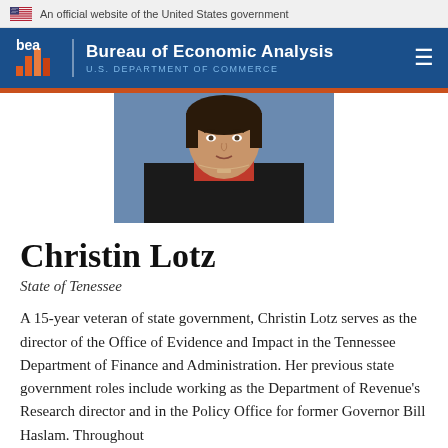An official website of the United States government
[Figure (logo): Bureau of Economic Analysis, U.S. Department of Commerce logo and navigation header]
[Figure (photo): Portrait photo of Christin Lotz, a woman wearing a black blazer and red top with a necklace]
Christin Lotz
State of Tenessee
A 15-year veteran of state government, Christin Lotz serves as the director of the Office of Evidence and Impact in the Tennessee Department of Finance and Administration. Her previous state government roles include working as the Department of Revenue's Research director and in the Policy Office for former Governor Bill Haslam. Throughout her career, Christin has also rail...